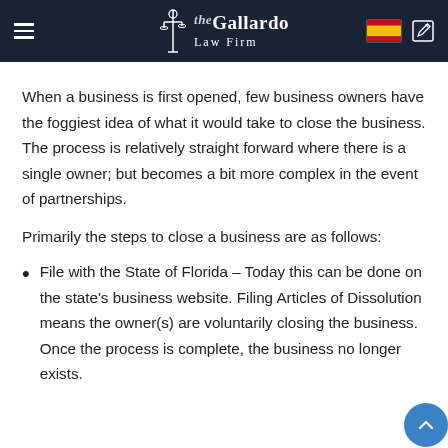Gallardo Law Firm
When a business is first opened, few business owners have the foggiest idea of what it would take to close the business. The process is relatively straight forward where there is a single owner; but becomes a bit more complex in the event of partnerships.
Primarily the steps to close a business are as follows:
File with the State of Florida – Today this can be done on the state's business website. Filing Articles of Dissolution means the owner(s) are voluntarily closing the business. Once the process is complete, the business no longer exists.